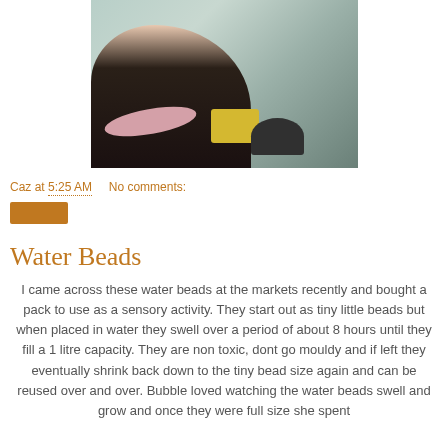[Figure (photo): Child with dark hair and pink scarf sitting and painting on a white surface, with yellow and dark paint containers nearby, inside what appears to be a tent or covered area with colorful marks on the walls.]
Caz at 5:25 AM    No comments:
[Figure (other): Orange/brown rectangular tag or label button]
Water Beads
I came across these water beads at the markets recently and bought a pack to use as a sensory activity. They start out as tiny little beads but when placed in water they swell over a period of about 8 hours until they fill a 1 litre capacity. They are non toxic, dont go mouldy and if left they eventually shrink back down to the tiny bead size again and can be reused over and over. Bubble loved watching the water beads swell and grow and once they were full size she spent